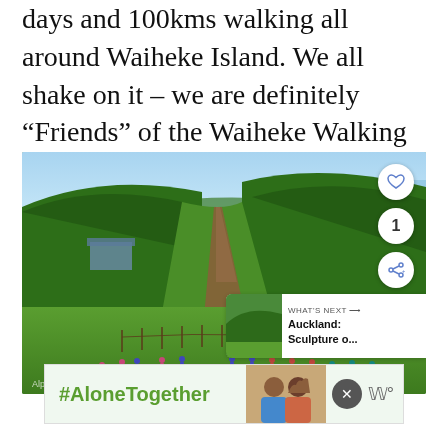days and 100kms walking all around Waiheke Island. We all shake on it – we are definitely “Friends” of the Waiheke Walking Festival!
[Figure (photo): Aerial or elevated view of green forested hills on Waiheke Island with a dirt track running down the hillside, a group of hikers/walkers visible in the lower foreground on a green grassy area with fencing. A building is partially visible top-left. Blue sky and sea visible in the distance. UI overlay elements include a heart/like button, a share button showing count '1', and a 'WHAT'S NEXT' card showing 'Auckland: Sculpture o...' with a thumbnail.]
[Figure (infographic): Advertisement banner with green background showing '#AloneTogether' hashtag text in bold green, a photo of two smiling people, a close (X) button, and a logo mark.]